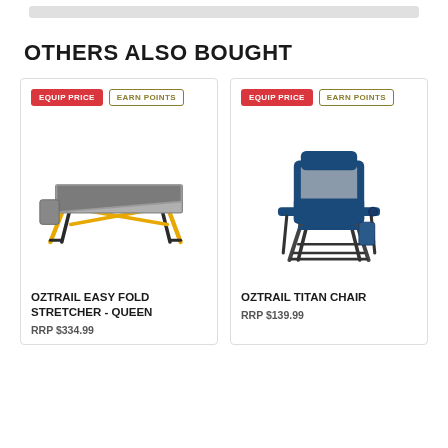OTHERS ALSO BOUGHT
[Figure (photo): Oztrail Easy Fold Stretcher - Queen camping cot with yellow metal legs and grey fabric surface]
OZTRAIL EASY FOLD STRETCHER - QUEEN
RRP $334.99
[Figure (photo): Oztrail Titan Chair, a large navy blue folding camping chair with armrests and side pocket]
OZTRAIL TITAN CHAIR
RRP $139.99